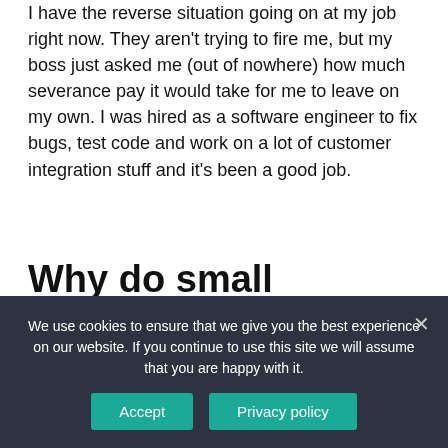I have the reverse situation going on at my job right now. They aren't trying to fire me, but my boss just asked me (out of nowhere) how much severance pay it would take for me to leave on my own. I was hired as a software engineer to fix bugs, test code and work on a lot of customer integration stuff and it's been a good job.
Why do small businesses not fire bad employees?
A single underperformer can have a devastating
We use cookies to ensure that we give you the best experience on our website. If you continue to use this site we will assume that you are happy with it.
Accept
Privacy policy